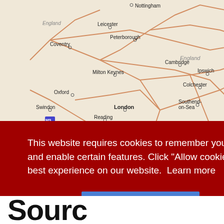[Figure (map): Map of England and surrounding regions showing cities including Nottingham, England label, Leicester, Norwich, Peterborough, Coventry, Cambridge, Milton Keynes, Ipswich, Colchester, Oxford, Southend-on-Sea, Swindon, London, Reading, English Channel label, and across the water The Hague, Middelburg, Bruges, Ghent. Road network shown in orange/brown lines. Belgium/Netherlands coastal region highlighted in orange.]
This website requires cookies to remember your preferences and enable certain features. Click "Allow cookies" to get the best experience on our website.  Learn more
Decline
Allow cookies
Sourc